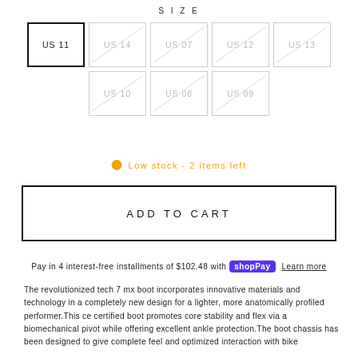SIZE
US 11 (selected), US 14 (unavailable), US 07 (unavailable), US 12 (unavailable), US 13 (unavailable), US 10 (unavailable), US 08 (unavailable), US 09 (unavailable)
Low stock - 2 items left
ADD TO CART
Pay in 4 interest-free installments of $102.48 with Shop Pay Learn more
The revolutionized tech 7 mx boot incorporates innovative materials and technology in a completely new design for a lighter, more anatomically profiled performer.This ce certified boot promotes core stability and flex via a biomechanical pivot while offering excellent ankle protection.The boot chassis has been designed to give complete feel and optimized interaction with bike